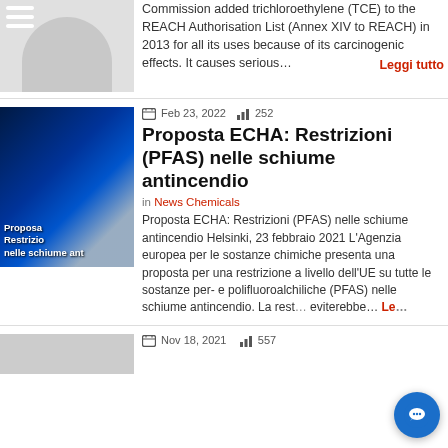[Figure (photo): Partial top article image with hamburger menu icon and silhouette figure on gray background]
Commission added trichloroethylene (TCE) to the REACH Authorisation List (Annex XIV to REACH) in 2013 for all its uses because of its carcinogenic effects. It causes serious…
Leggi tutto
Feb 23, 2022   252
Proposta ECHA: Restrizioni (PFAS) nelle schiume antincendio
in News Chemicals
[Figure (photo): Photo of firefighter using foam spray with text overlay reading 'Proposta Restrizio nelle schiume ant' on dark blue background]
Proposta ECHA: Restrizioni (PFAS) nelle schiume antincendio Helsinki, 23 febbraio 2021 L'Agenzia europea per le sostanze chimiche presenta una proposta per una restrizione a livello dell'UE su tutte le sostanze per- e polifluoroalchiliche (PFAS) nelle schiume antincendio. La rest… eviterebbe…
Leggi tutto
Nov 18, 2021   557